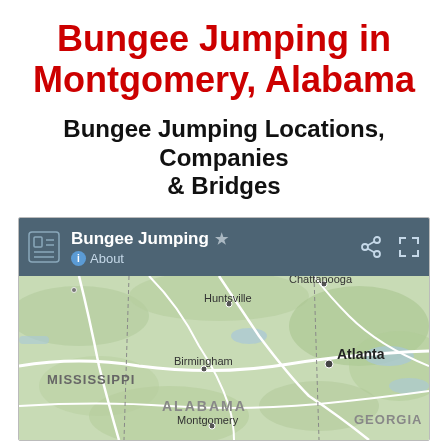Bungee Jumping in Montgomery, Alabama
Bungee Jumping Locations, Companies & Bridges
[Figure (map): Google Maps screenshot showing southeastern United States including Alabama, Mississippi, Georgia with cities including Montgomery, Birmingham, Huntsville, Atlanta, Chattanooga labeled. Map header shows 'Bungee Jumping' with About, share, and fullscreen icons on a dark teal toolbar.]